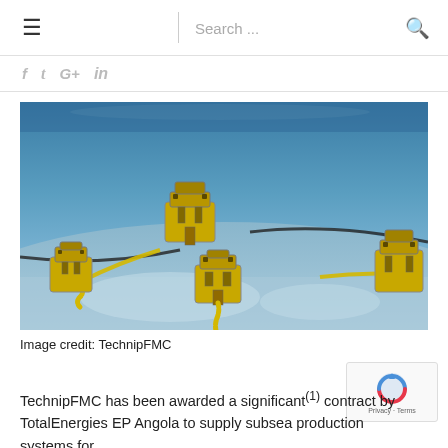☰  Search ...  🔍
f  𝕥  G+  in
[Figure (photo): Underwater subsea production system render showing multiple yellow subsea trees/manifolds connected by pipelines and umbilicals on the seabed. The image depicts TechnipFMC subsea equipment installed on the ocean floor with blue-grey water above.]
Image credit: TechnipFMC
TechnipFMC has been awarded a significant(1) contract by TotalEnergies EP Angola to supply subsea production systems for